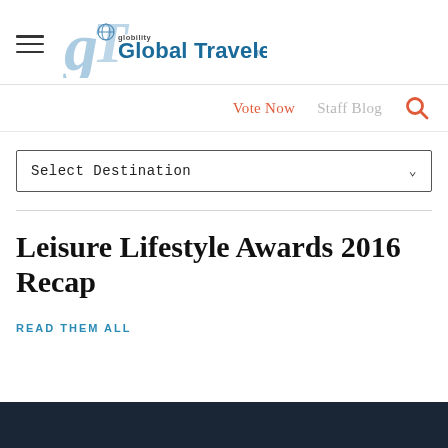Global Traveler
Vote Now   Staff Blog
Select Destination
Leisure Lifestyle Awards 2016 Recap
READ THEM ALL